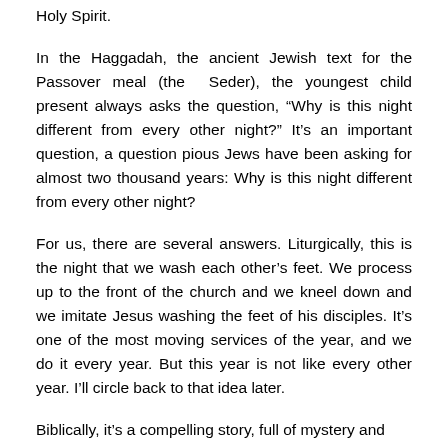Holy Spirit.
In the Haggadah, the ancient Jewish text for the Passover meal (the Seder), the youngest child present always asks the question, “Why is this night different from every other night?” It’s an important question, a question pious Jews have been asking for almost two thousand years: Why is this night different from every other night?
For us, there are several answers. Liturgically, this is the night that we wash each other’s feet. We process up to the front of the church and we kneel down and we imitate Jesus washing the feet of his disciples. It’s one of the most moving services of the year, and we do it every year. But this year is not like every other year. I’ll circle back to that idea later.
Biblically, it’s a compelling story, full of mystery and